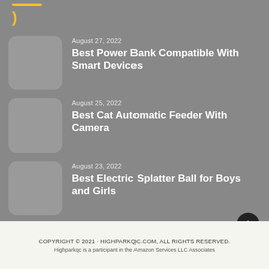HIGHPARKQC.COM logo with gold lines and arc
August 27, 2022 — Best Power Bank Compatible With Smart Devices
August 25, 2022 — Best Cat Automatic Feeder With Camera
August 23, 2022 — Best Electric Splatter Ball for Boys and Girls
COPYRIGHT © 2021 · HIGHPARKQC.COM, ALL RIGHTS RESERVED. Highparkqc is a participant in the Amazon Services LLC Associates…